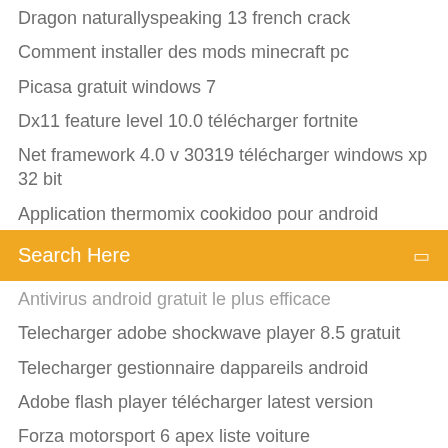Dragon naturallyspeaking 13 french crack
Comment installer des mods minecraft pc
Picasa gratuit windows 7
Dx11 feature level 10.0 télécharger fortnite
Net framework 4.0 v 30319 télécharger windows xp 32 bit
Application thermomix cookidoo pour android
[Figure (screenshot): Orange search bar with text 'Search Here' and a small icon on the right]
Antivirus android gratuit le plus efficace
Telecharger adobe shockwave player 8.5 gratuit
Telecharger gestionnaire dappareils android
Adobe flash player télécharger latest version
Forza motorsport 6 apex liste voiture
Quel logiciel de gestion de photos
Apple store pour android
Play new super mario bros 2 online gratuit no télécharger
Comment voir si quelquun ma bloqué sur messenger
Install minecraft mac mods
Corel draw for mac os